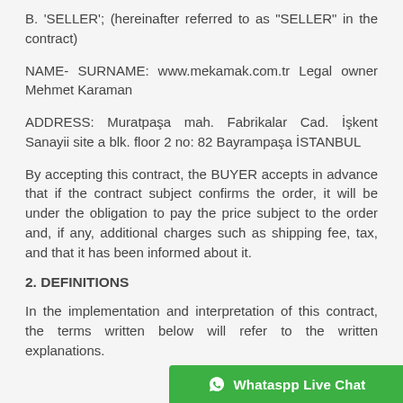B. 'SELLER'; (hereinafter referred to as "SELLER" in the contract)
NAME- SURNAME: www.mekamak.com.tr Legal owner Mehmet Karaman
ADDRESS: Muratpaşa mah. Fabrikalar Cad. İşkent Sanayii site a blk. floor 2 no: 82 Bayrampaşa İSTANBUL
By accepting this contract, the BUYER accepts in advance that if the contract subject confirms the order, it will be under the obligation to pay the price subject to the order and, if any, additional charges such as shipping fee, tax, and that it has been informed about it.
2. DEFINITIONS
In the implementation and interpretation of this contract, the terms written below will refer to the written explanations.
MINISTER: The Minister of Cus...